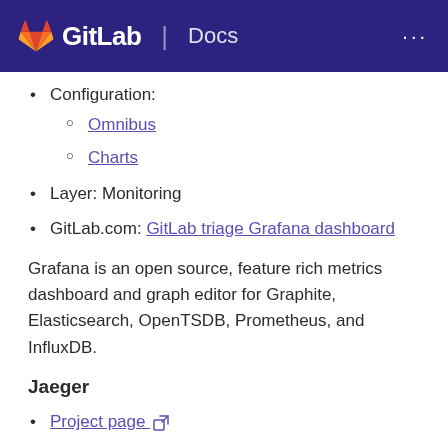GitLab | Docs
Configuration:
Omnibus
Charts
Layer: Monitoring
GitLab.com: GitLab triage Grafana dashboard
Grafana is an open source, feature rich metrics dashboard and graph editor for Graphite, Elasticsearch, OpenTSDB, Prometheus, and InfluxDB.
Jaeger
Project page
Configuration:
Omnibus